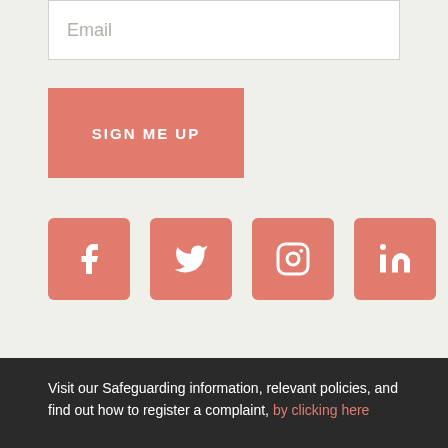[Figure (screenshot): Email input field with placeholder text 'Email' on a light beige background]
[Figure (screenshot): A coral/salmon colored 'SIGN ME UP' button]
[Figure (infographic): Four coral/salmon colored social media icon buttons: Facebook, Twitter, Instagram, LinkedIn]
Visit our Safeguarding information, relevant policies, and find out how to register a complaint, by clicking here